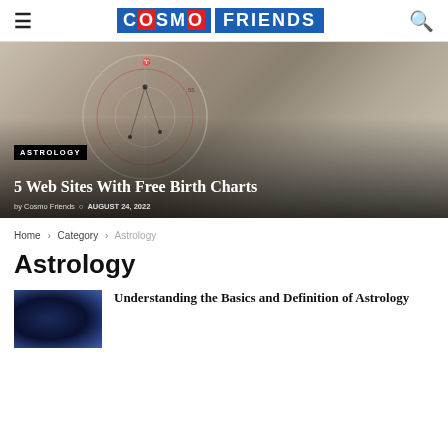COSMO FRIENDS
[Figure (photo): Astrology birth chart on paper with pencils, pens, and decorative stones on a desk. Overlaid text: category label ASTROLOGY, title 5 Web Sites With Free Birth Charts, byline by Cosmo Friends, date AUGUST 24, 2022]
Home > Category > Astrology
Astrology
[Figure (photo): Thumbnail image of a zodiac/astrology illustration with blue and gold tones]
Understanding the Basics and Definition of Astrology